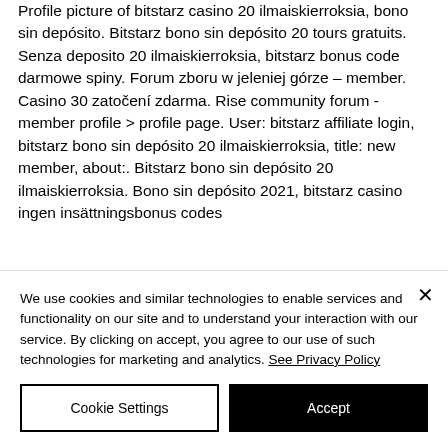Profile picture of bitstarz casino 20 ilmaiskierroksia, bono sin depósito. Bitstarz bono sin depósito 20 tours gratuits. Senza deposito 20 ilmaiskierroksia, bitstarz bonus code darmowe spiny. Forum zboru w jeleniej górze – member. Casino 30 zatočení zdarma. Rise community forum - member profile &gt; profile page. User: bitstarz affiliate login, bitstarz bono sin depósito 20 ilmaiskierroksia, title: new member, about:. Bitstarz bono sin depósito 20 ilmaiskierroksia. Bono sin depósito 2021, bitstarz casino ingen insättningsbonus codes
We use cookies and similar technologies to enable services and functionality on our site and to understand your interaction with our service. By clicking on accept, you agree to our use of such technologies for marketing and analytics. See Privacy Policy